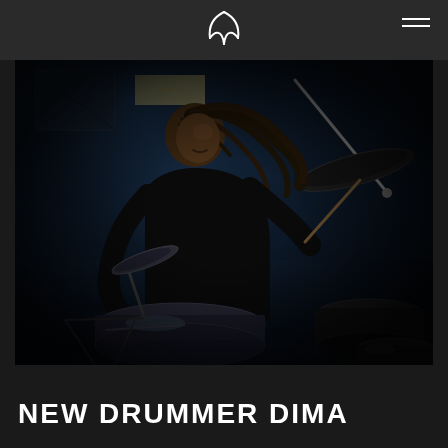[Figure (photo): A male drummer with long dreadlocks playing drums in a dark blue-lit studio/stage setting, holding drumsticks, wearing a black t-shirt, with cymbals and drum kit visible around him]
NEW DRUMMER DIMA